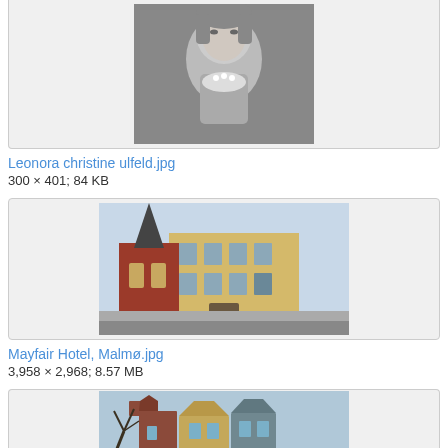[Figure (photo): Black and white portrait engraving of a woman (Leonora Christine Ulfeld), partially cropped at top]
Leonora christine ulfeld.jpg
300 × 401; 84 KB
[Figure (photo): Color photograph of Mayfair Hotel in Malmø, showing a yellow building with a red brick church spire behind it, street level view]
Mayfair Hotel, Malmø.jpg
3,958 × 2,968; 8.57 MB
[Figure (photo): Color photograph of Amsterdam canal houses with bare trees in foreground, partially cropped at bottom]